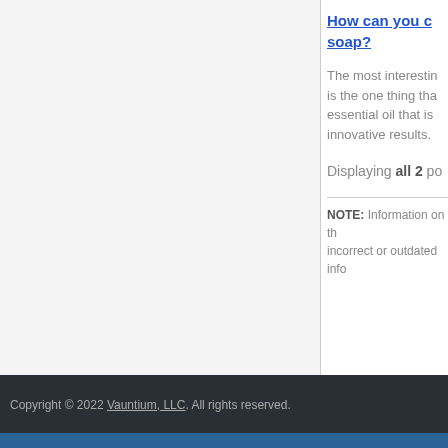How can you d... soap?
The most interestin... is the one thing tha... essential oil that is ... innovative results.
Displaying all 2 po...
NOTE: Information on th... incorrect or outdated info...
Copyright © 2022 Vauntium, LLC. All rights reserved.